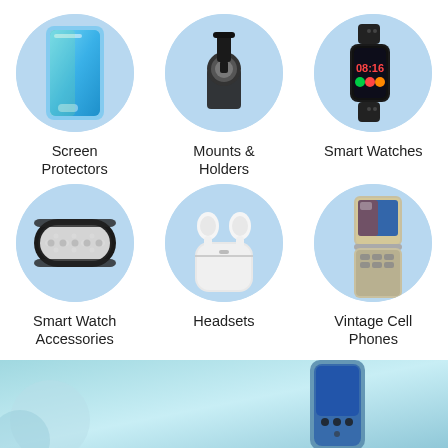[Figure (illustration): Six product category circles in 2x3 grid: Screen Protectors (phone screen protector), Mounts & Holders (car phone mount), Smart Watches (fitness tracker), Smart Watch Accessories (watch band), Headsets (AirPods in case), Vintage Cell Phones (flip phone). Bottom banner with teal/blue background showing partial phone image.]
Screen Protectors
Mounts & Holders
Smart Watches
Smart Watch Accessories
Headsets
Vintage Cell Phones